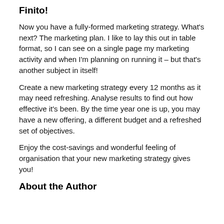Finito!
Now you have a fully-formed marketing strategy. What's next? The marketing plan. I like to lay this out in table format, so I can see on a single page my marketing activity and when I'm planning on running it – but that's another subject in itself!
Create a new marketing strategy every 12 months as it may need refreshing. Analyse results to find out how effective it's been. By the time year one is up, you may have a new offering, a different budget and a refreshed set of objectives.
Enjoy the cost-savings and wonderful feeling of organisation that your new marketing strategy gives you!
About the Author